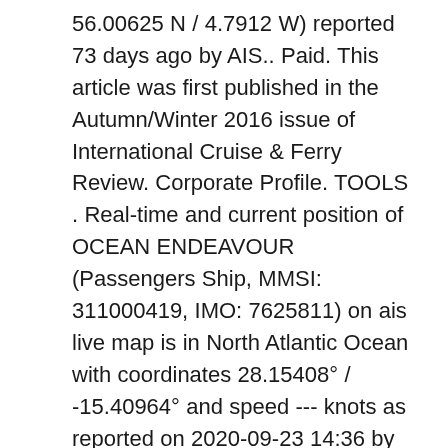56.00625 N / 4.7912 W) reported 73 days ago by AIS.. Paid. This article was first published in the Autumn/Winter 2016 issue of International Cruise & Ferry Review. Corporate Profile. TOOLS . Real-time and current position of OCEAN ENDEAVOUR (Passengers Ship, MMSI: 311000419, IMO: 7625811) on ais live map is in North Atlantic Ocean with coordinates 28.15408° / -15.40964° and speed --- knots as reported on 2020-09-23 14:36 by AIS live data. Diamond Offshore Drilling, Inc. is a leader in offshore drilling, providing contract drilling services to the energy industry around the globe with a total fleet of 15 offshore drilling rigs, consisting of 11 semisubmersibles and four dynamically positioned drillships. The current position of OCEAN ENDEAVOUR is in North Sea with coordinates 58.61445° / -2.90218° as reported on 2020-06-08 13:10 by AIS to our vessel tracker app. VesselFinder displays real time ship positions